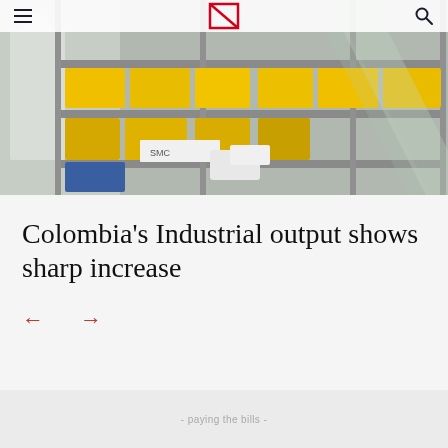[Figure (photo): Industrial factory/warehouse scene with yellow bins and SMC-branded equipment on metal shelving, workers in background]
Colombia's Industrial output shows sharp increase
← →
- paying the bills -